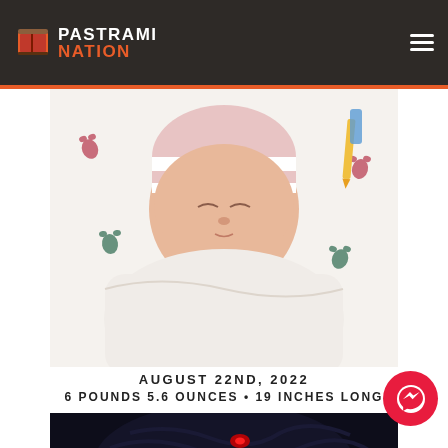PASTRAMI NATION
[Figure (photo): Newborn baby wrapped in a white hospital blanket with colorful footprint pattern, wearing a pink and white striped hospital hat, sleeping]
AUGUST 22ND, 2022
6 POUNDS 5.6 OUNCES • 19 INCHES LONG
[Figure (photo): Dark moody image partially visible at bottom of page, appears to show a creature or character with red eyes]